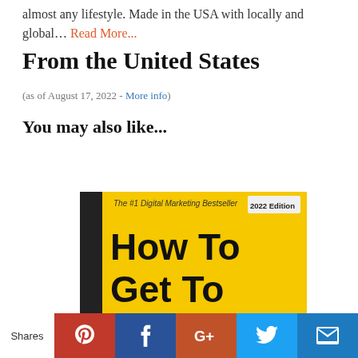almost any lifestyle. Made in the USA with locally and global… Read More...
From the United States
(as of August 17, 2022 - More info)
You may also like...
[Figure (photo): Book cover: 'How To Get To The Top' - The #1 Digital Marketing Bestseller, 2022 Edition. Yellow cover with black bold text and a dark left spine.]
Shares | Pinterest | Facebook | G+ | Twitter | Email